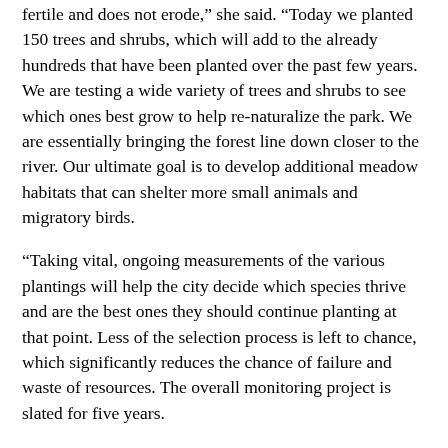fertile and does not erode,” she said. “Today we planted 150 trees and shrubs, which will add to the already hundreds that have been planted over the past few years. We are testing a wide variety of trees and shrubs to see which ones best grow to help re-naturalize the park. We are essentially bringing the forest line down closer to the river. Our ultimate goal is to develop additional meadow habitats that can shelter more small animals and migratory birds.
“Taking vital, ongoing measurements of the various plantings will help the city decide which species thrive and are the best ones they should continue planting at that point. Less of the selection process is left to chance, which significantly reduces the chance of failure and waste of resources. The overall monitoring project is slated for five years.
“Today was a great day and a great start to another year for this project and moving toward our ultimate goals.”
Councillor Anthony Perruzza and staff, MPP Tom Rakocevic, and the team have been very active in the program. Many local schools and students have participated since 2019, the beginning of the project. And many thanks to local community participants, environment lists, Guest Experts and Edith C…